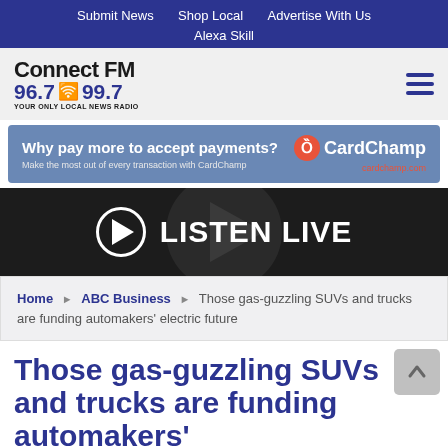Submit News   Shop Local   Advertise With Us   Alexa Skill
[Figure (logo): Connect FM 96.7 99.7 Your Only Local News Radio logo with hamburger menu icon]
[Figure (infographic): CardChamp advertisement banner: Why pay more to accept payments? Make the most out of every transaction with CardChamp. cardchamp.com]
[Figure (infographic): Listen Live button with play circle icon on dark background]
Home ▶ ABC Business ▶ Those gas-guzzling SUVs and trucks are funding automakers' electric future
Those gas-guzzling SUVs and trucks are funding automakers'